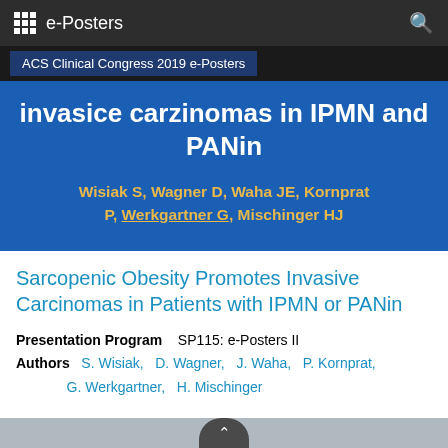e-Posters
ACS Clinical Congress 2019 e-Posters
invasice carzinomas in IPMN and PANin
Wisiak S, Wagner D, Waha JE, Kornprat P, Werkgartner G, Mischinger HJ
Sarcopenic Obesity Promotes Invasive Carcinomas in Patients with IPMN or PANin
Presentation Program   SP115: e-Posters II
Authors   S. Wisiak,   D. Wagner,   J. Waha,   P. Kornprat,   G. Werkgartner,   H. Mischinger